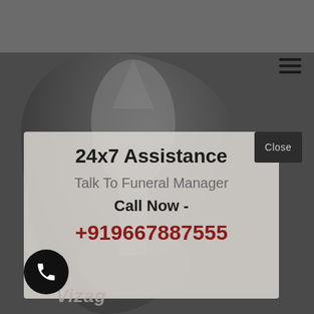[Figure (screenshot): Dark gray background with a darker inner panel showing a partially visible decorative shape (appears to be a sail or monument)]
[Figure (other): Hamburger menu icon (three horizontal lines) in top right corner]
[Figure (other): Close button - dark box with 'Close' text in top right of modal]
24x7 Assistance
Talk To Funeral Manager
Call Now -
+919667887555
[Figure (other): Black circular phone icon button in bottom left]
Vizag